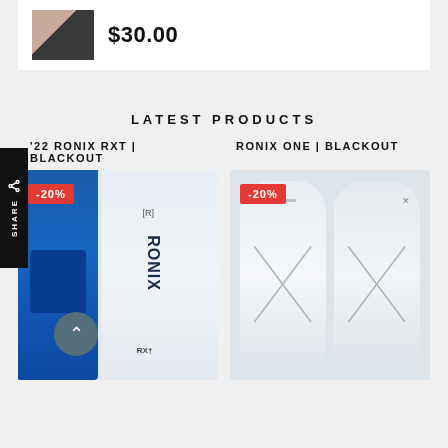$30.00
LATEST PRODUCTS
'22 RONIX RXT | BLACKOUT
RONIX ONE | BLACKOUT
[Figure (photo): Product photo of Ronix RXT wakeboard blackout edition with -20% badge, showing blue and white board]
[Figure (photo): Product photo of Ronix One Blackout wakeboard with -20% badge, showing white boards]